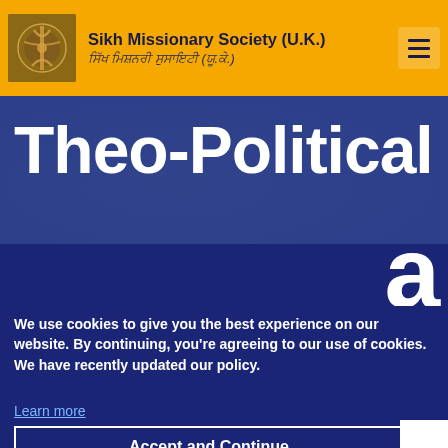Sikh Missionary Society (U.K.) ਸਿੱਖ ਮਿਸ਼ਨਰੀ ਸੁਸਾਇਟੀ (ਯੂ.ਕੇ.)
Theo-Political Sikhi
We use cookies to give you the best experience on our website. By continuing, you’re agreeing to our use of cookies. We have recently updated our policy.
Learn more
Accept and Continue